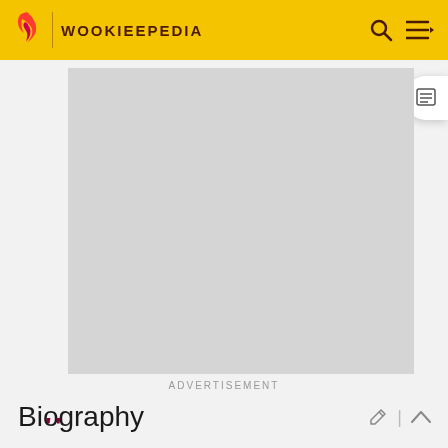WOOKIEEPEDIA
[Figure (other): Advertisement placeholder rectangle (gray box)]
ADVERTISEMENT
Biography
[Figure (illustration): Dark red/crimson large quotation marks icon]